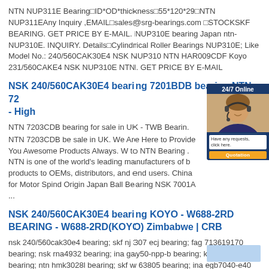NTN NUP311E Bearing□ID*OD*thickness□55*120*29□NTN NUP311EAny Inquiry ,EMAIL□sales@srg-bearings.com □STOCKSKF BEARING. GET PRICE BY E-MAIL. NUP310E bearing Japan ntn-NUP310E. INQUIRY. Details□Cylindrical Roller Bearings NUP310E; Like Model No.: 240/560CAK30E4 NSK NUP310 NTN HAR009CDF Koyo 231/560CAKE4 NSK NUP310E NTN. GET PRICE BY E-MAIL
NSK 240/560CAK30E4 bearing 7201BDB bearing NTN 72 - High
NTN 7203CDB bearing for sale in UK - TWB Bearin. NTN 7203CDB be sale in UK. We Are Here to Provide You Awesome Products Always. W to NTN Bearing . NTN is one of the world's leading manufacturers of b products to OEMs, distributors, and end users. China for Motor Spind Origin Japan Ball Bearing NSK 7001A ...
NSK 240/560CAK30E4 bearing KOYO - W688-2RD BEARING - W688-2RD(KOYO) Zimbabwe | CRB
nsk 240/560cak30e4 bearing; skf nj 307 ecj bearing; fag 713619170 bearing; nsk rna4932 bearing; ina gay50-npp-b bearing; koyo nth-3460 bearing; ntn hmk3028l bearing; skf w 63805 bearing; ina egb7040-e40 bearing; ntn 6203llu/15 bearing; skf 23236 cck/w33 h 2336 bearing; related news. koyo_w686-2rs bearing_manufacturer + wholesale_burnaby ...
[Figure (other): Customer service chat widget showing a woman with headset, '24/7 Online' header in blue and orange, a white text box with 'Have any requests, click here.' and an orange 'Quotation' button]